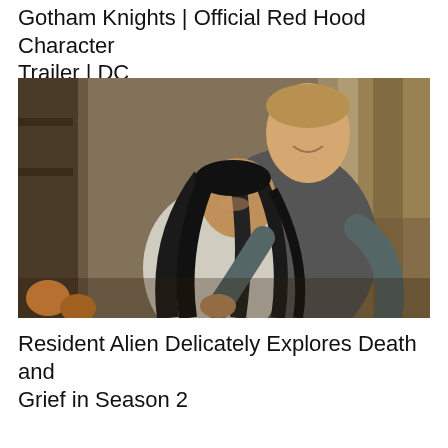Gotham Knights | Official Red Hood Character Trailer | DC
[Figure (photo): A man and a woman embracing in what appears to be a cozy indoor setting. The woman leans her head against the man's chest while he holds her from behind, both appearing content. The background shows a kitchen/living area with warm lighting and curtains.]
Resident Alien Delicately Explores Death and Grief in Season 2